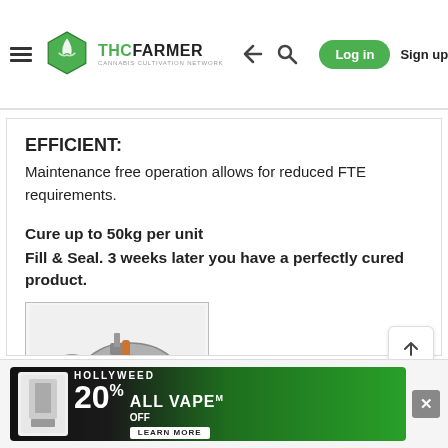THC FARMER — Cannabis Cultivation Network | Log in | Sign up
EFFICIENT:
Maintenance free operation allows for reduced FTE requirements.
Cure up to 50kg per unit
Fill & Seal. 3 weeks later you have a perfectly cured product.
[Figure (photo): Photo of a silver air compressor/vacuum pump with black cord]
[Figure (photo): Partial photo of industrial equipment (gray/silver)]
[Figure (photo): Partial photo of metallic tubes/equipment]
HOLLYWEED 20% OFF ALL VAPE — LEARN MORE (advertisement banner)